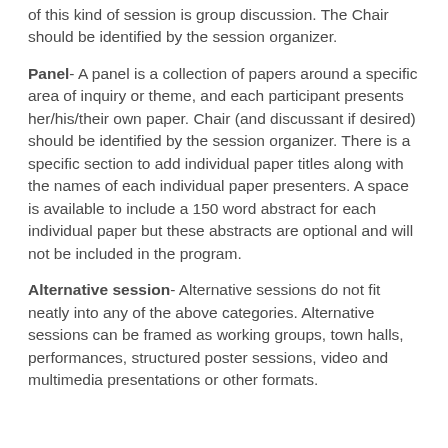of this kind of session is group discussion. The Chair should be identified by the session organizer.
Panel- A panel is a collection of papers around a specific area of inquiry or theme, and each participant presents her/his/their own paper. Chair (and discussant if desired) should be identified by the session organizer. There is a specific section to add individual paper titles along with the names of each individual paper presenters. A space is available to include a 150 word abstract for each individual paper but these abstracts are optional and will not be included in the program.
Alternative session- Alternative sessions do not fit neatly into any of the above categories. Alternative sessions can be framed as working groups, town halls, performances, structured poster sessions, video and multimedia presentations or other formats.